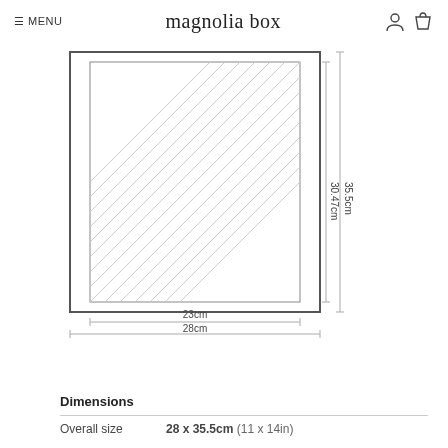≡ MENU   magnolia box
[Figure (engineering-diagram): Product dimension diagram showing a framed print with diagonal hatching. Outer frame 28cm wide x 35.5cm tall, inner print area 23cm wide x 30.47cm tall. Width dimensions shown below with dimension lines, height dimensions shown to the right with dimension lines.]
Dimensions
Overall size   28 x 35.5cm (11 x 14in)